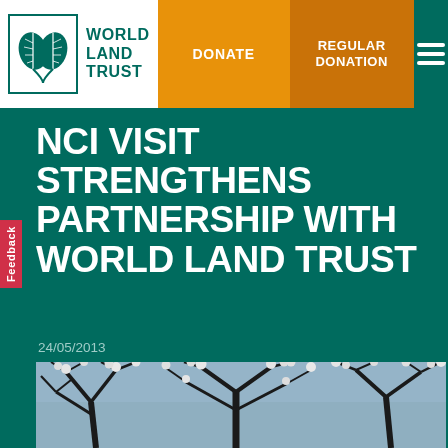[Figure (logo): World Land Trust logo with two leaf icon in a green border box, with text WORLD LAND TRUST]
DONATE | REGULAR DONATION
NCI VISIT STRENGTHENS PARTNERSHIP WITH WORLD LAND TRUST
24/05/2013
[Figure (photo): Photograph of bare tree branches with white bird silhouettes against a blue-grey sky]